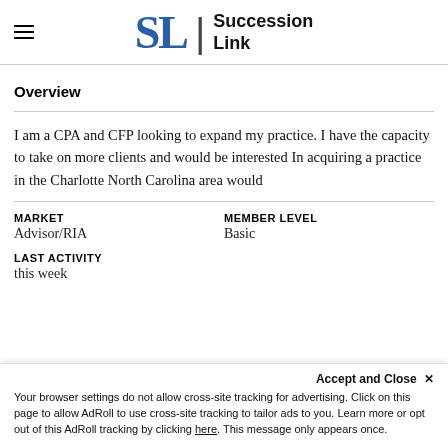SL | Succession Link
Overview
I am a CPA and CFP looking to expand my practice. I have the capacity to take on more clients and would be interested In acquiring a practice in the Charlotte North Carolina area would
MARKET
Advisor/RIA

MEMBER LEVEL
Basic

LAST ACTIVITY
this week
Accept and Close ✕
Your browser settings do not allow cross-site tracking for advertising. Click on this page to allow AdRoll to use cross-site tracking to tailor ads to you. Learn more or opt out of this AdRoll tracking by clicking here. This message only appears once.